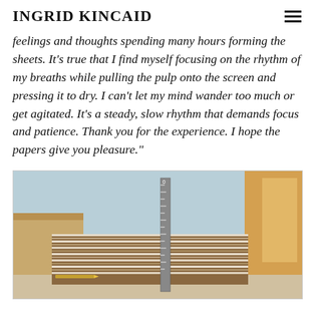INGRID KINCAID
feelings and thoughts spending many hours forming the sheets. It's true that I find myself focusing on the rhythm of my breaths while pulling the pulp onto the screen and pressing it to dry. I can't let my mind wander too much or get agitated. It's a steady, slow rhythm that demands focus and patience. Thank you for the experience. I hope the papers give you pleasure."
[Figure (photo): A large stack of handmade paper sheets photographed from the side, with a ruler standing vertically measuring the height of the stack. Light background with warm window light visible on the right.]